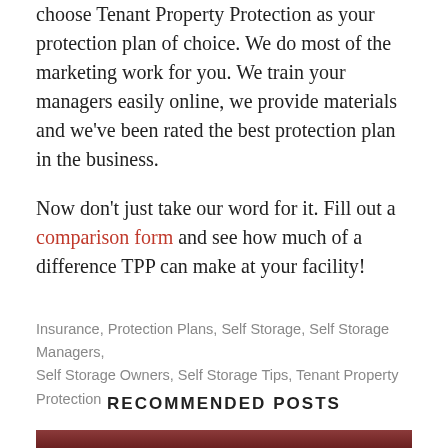choose Tenant Property Protection as your protection plan of choice. We do most of the marketing work for you. We train your managers easily online, we provide materials and we've been rated the best protection plan in the business.
Now don't just take our word for it. Fill out a comparison form and see how much of a difference TPP can make at your facility!
Insurance, Protection Plans, Self Storage, Self Storage Managers, Self Storage Owners, Self Storage Tips, Tenant Property Protection
RECOMMENDED POSTS
[Figure (photo): Bottom strip of a photo partially visible at bottom of page]